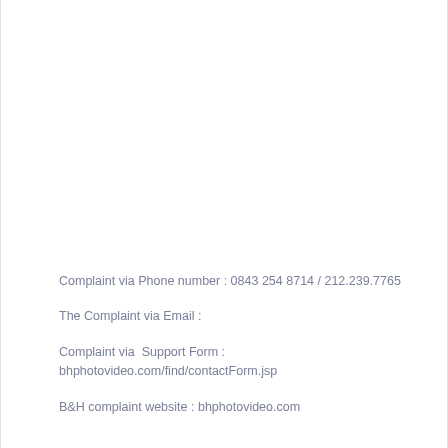Complaint via Phone number : 0843 254 8714 / 212.239.7765
The Complaint via Email :
Complaint via  Support Form : bhphotovideo.com/find/contactForm.jsp
B&H complaint website : bhphotovideo.com